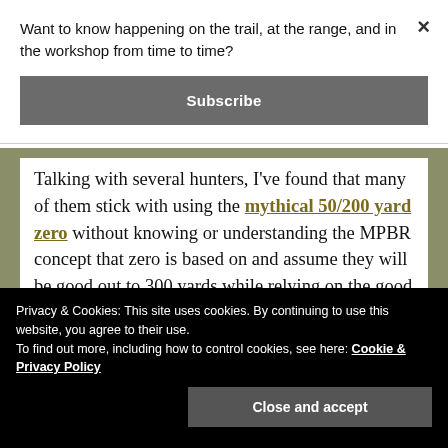Want to know happening on the trail, at the range, and in the workshop from time to time?
Subscribe
Talking with several hunters, I've found that many of them stick with using the mythical 50/200 yard zero without knowing or understanding the MPBR concept that zero is based on and assume they will be good out to 300 yards while relying on the good old simple duplex reticle design (basic
Privacy & Cookies: This site uses cookies. By continuing to use this website, you agree to their use.
To find out more, including how to control cookies, see here: Cookie & Privacy Policy
Close and accept
however, faithfully relying on that assumption